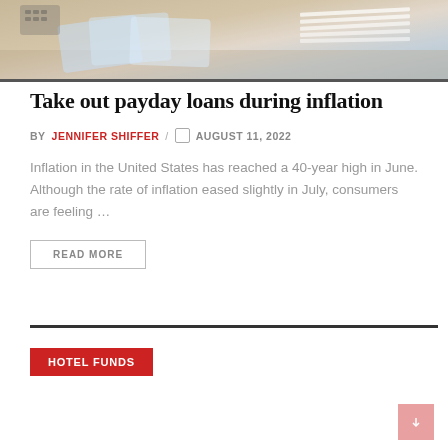[Figure (photo): Hero image showing financial documents, credit cards, and papers on a desk — blurred background]
Take out payday loans during inflation
BY JENNIFER SHIFFER / AUGUST 11, 2022
Inflation in the United States has reached a 40-year high in June. Although the rate of inflation eased slightly in July, consumers are feeling …
READ MORE
HOTEL FUNDS